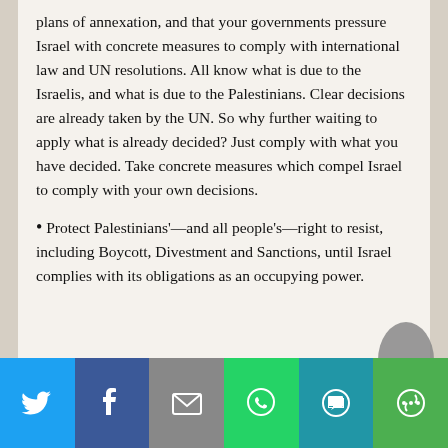plans of annexation, and that your governments pressure Israel with concrete measures to comply with international law and UN resolutions. All know what is due to the Israelis, and what is due to the Palestinians. Clear decisions are already taken by the UN. So why further waiting to apply what is already decided? Just comply with what you have decided. Take concrete measures which compel Israel to comply with your own decisions.
• Protect Palestinians'—and all people's—right to resist, including Boycott, Divestment and Sanctions, until Israel complies with its obligations as an occupying power.
Share bar: Twitter, Facebook, Email, WhatsApp, SMS, More